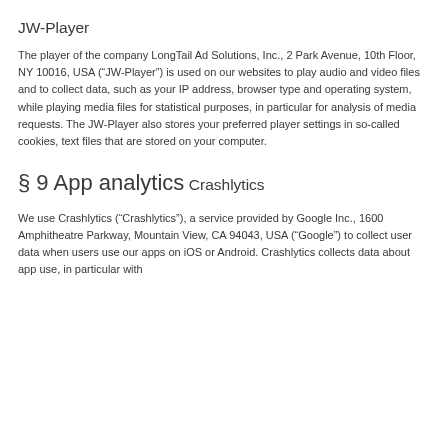JW-Player
The player of the company LongTail Ad Solutions, Inc., 2 Park Avenue, 10th Floor, NY 10016, USA (“JW-Player”) is used on our websites to play audio and video files and to collect data, such as your IP address, browser type and operating system, while playing media files for statistical purposes, in particular for analysis of media requests. The JW-Player also stores your preferred player settings in so-called cookies, text files that are stored on your computer.
§ 9 App analytics
Crashlytics
We use Crashlytics (“Crashlytics”), a service provided by Google Inc., 1600 Amphitheatre Parkway, Mountain View, CA 94043, USA (“Google”) to collect user data when users use our apps on iOS or Android. Crashlytics collects data about app use, in particular with